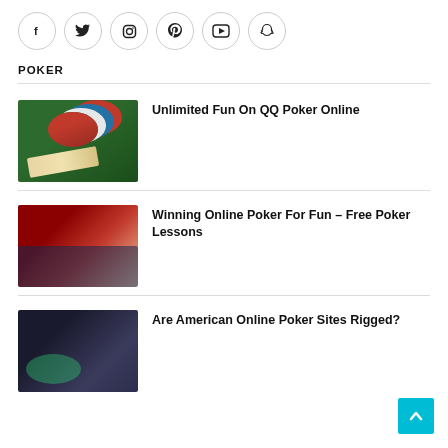[Figure (other): Social media icons row: Facebook, Twitter, Instagram, Pinterest, YouTube, Snapchat — each in a circular border]
POKER
[Figure (photo): Poker chips stacked on green felt table with playing cards]
Unlimited Fun On QQ Poker Online
[Figure (photo): People playing poker at a table in a red-lit room]
Winning Online Poker For Fun – Free Poker Lessons
[Figure (photo): People playing poker at a casino table, dark background]
Are American Online Poker Sites Rigged?